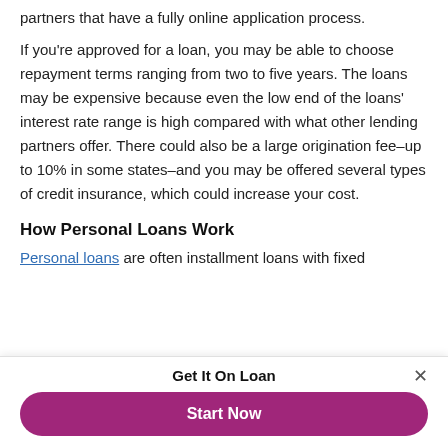partners that have a fully online application process.
If you're approved for a loan, you may be able to choose repayment terms ranging from two to five years. The loans may be expensive because even the low end of the loans' interest rate range is high compared with what other lending partners offer. There could also be a large origination fee–up to 10% in some states–and you may be offered several types of credit insurance, which could increase your cost.
How Personal Loans Work
Personal loans are often installment loans with fixed
Get It On Loan
Start Now